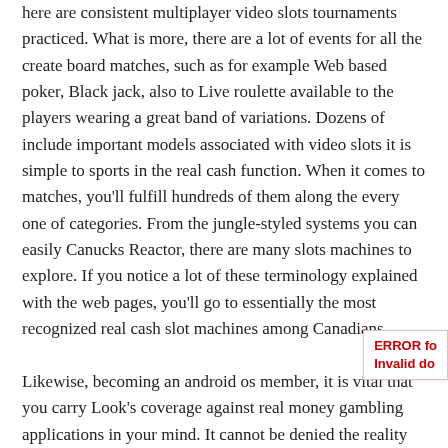here are consistent multiplayer video slots tournaments practiced. What is more, there are a lot of events for all the create board matches, such as for example Web based poker, Black jack, also to Live roulette available to the players wearing a great band of variations. Dozens of include important models associated with video slots it is simple to sports in the real cash function. When it comes to matches, you'll fulfill hundreds of them along the every one of categories. From the jungle-styled systems you can easily Canucks Reactor, there are many slots machines to explore. If you notice a lot of these terminology explained with the web pages, you'll go to essentially the most recognized real cash slot machines among Canadians.
Likewise, becoming an android os member, it is vital that you carry Look's coverage against real money gambling applications in your mind. It cannot be denied the reality that the actual fact that every one of mobile phones are perfect, Droid system and the are apple's ios computer system control and to lead the w buyers regar ding business. Thus, the main focus on the applications lovers and also designers ended up typically on these